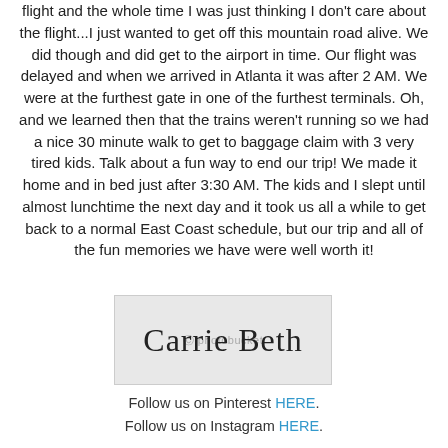flight and the whole time I was just thinking I don't care about the flight...I just wanted to get off this mountain road alive. We did though and did get to the airport in time. Our flight was delayed and when we arrived in Atlanta it was after 2 AM. We were at the furthest gate in one of the furthest terminals. Oh, and we learned then that the trains weren't running so we had a nice 30 minute walk to get to baggage claim with 3 very tired kids. Talk about a fun way to end our trip! We made it home and in bed just after 3:30 AM. The kids and I slept until almost lunchtime the next day and it took us all a while to get back to a normal East Coast schedule, but our trip and all of the fun memories we have were well worth it!
[Figure (illustration): A signature image showing 'Carrie Beth' in cursive script on a light gray background with a photobucket watermark]
Follow us on Pinterest HERE.
Follow us on Instagram HERE.